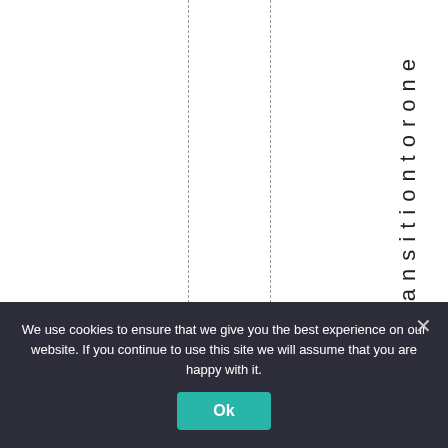vetransitiontorone
We use cookies to ensure that we give you the best experience on our website. If you continue to use this site we will assume that you are happy with it.
Ok